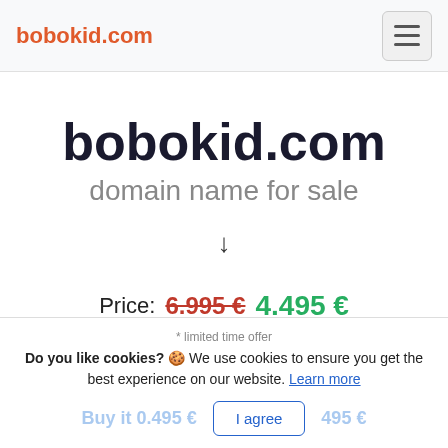bobokid.com
bobokid.com
domain name for sale
↓
Price: 6.995 € 4.495 €
* limited time offer
Do you like cookies? 🍪 We use cookies to ensure you get the best experience on our website. Learn more
I agree